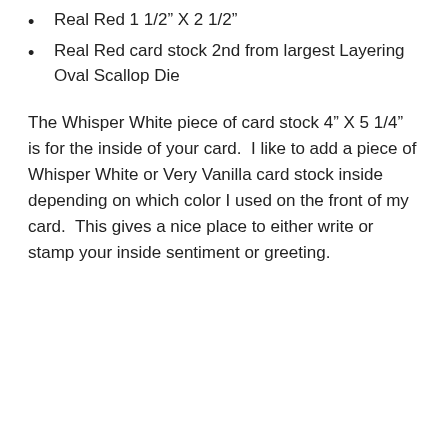Real Red 1 1/2” X 2 1/2”
Real Red card stock 2nd from largest Layering Oval Scallop Die
The Whisper White piece of card stock 4” X 5 1/4”  is for the inside of your card.  I like to add a piece of Whisper White or Very Vanilla card stock inside depending on which color I used on the front of my card.  This gives a nice place to either write or stamp your inside sentiment or greeting.